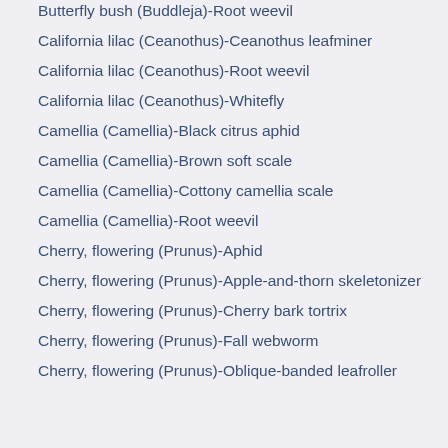Butterfly bush (Buddleja)-Root weevil
California lilac (Ceanothus)-Ceanothus leafminer
California lilac (Ceanothus)-Root weevil
California lilac (Ceanothus)-Whitefly
Camellia (Camellia)-Black citrus aphid
Camellia (Camellia)-Brown soft scale
Camellia (Camellia)-Cottony camellia scale
Camellia (Camellia)-Root weevil
Cherry, flowering (Prunus)-Aphid
Cherry, flowering (Prunus)-Apple-and-thorn skeletonizer
Cherry, flowering (Prunus)-Cherry bark tortrix
Cherry, flowering (Prunus)-Fall webworm
Cherry, flowering (Prunus)-Oblique-banded leafroller